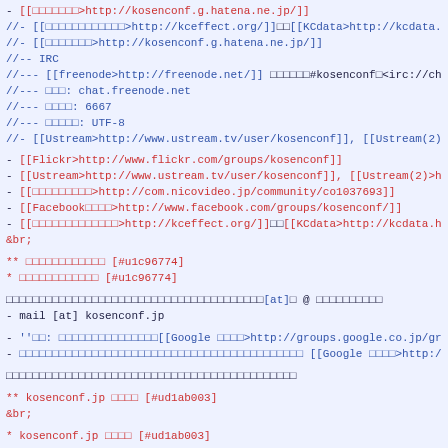Wiki page source code content with IRC/URL references and Japanese text
- [[□□□□□□□>http://kosenconf.g.hatena.ne.jp/]]
//- [[□□□□□□□□□□□□>http://kceffect.org/]]□□[[KCdata>http://kcdata.herokuapp.
//- [[□□□□□□□>http://kosenconf.g.hatena.ne.jp/]]
//-- IRC
//--- [[freenode>http://freenode.net/]] □□□□□□#kosenconf□<irc://chat.freenode
//--- □□□: chat.freenode.net
//--- □□□□: 6667
//--- □□□□□: UTF-8
//- [[Ustream>http://www.ustream.tv/user/kosenconf]], [[Ustream(2)>http://www.
- [[Flickr>http://www.flickr.com/groups/kosenconf]]
- [[Ustream>http://www.ustream.tv/user/kosenconf]], [[Ustream(2)>http://www.us
- [[□□□□□□□□□>http://com.nicovideo.jp/community/co1037693]]
- [[Facebook□□□□>http://www.facebook.com/groups/kosenconf/]]
- [[□□□□□□□□□□□□□>http://kceffect.org/]]□□[[KCdata>http://kcdata.herokuapp.co
&br;
** □□□□□□□□□□□□ [#u1c96774]
* □□□□□□□□□□□□ [#u1c96774]
□□□□□□□□□□□□□□□□□□□□□□□□□□□□□□□□□□□□□□□[at]□ @ □□□□□□□□□□
- mail [at] kosenconf.jp
- ''□□: □□□□□□□□□□□□□□□[[Google □□□□>http://groups.google.co.jp/group/kosenc
- □□□□□□□□□□□□□□□□□□□□□□□□□□□□□□□□□□□□□□□□□□□ [[Google □□□□>http://groups.
□□□□□□□□□□□□□□□□□□□□□□□□□□□□□□□□□□□□□□□□□□□□
** kosenconf.jp □□□□ [#ud1ab003]
&br;
* kosenconf.jp □□□□ [#ud1ab003]
kosenconf.jp {□□□□□□□□} □□□□□□□□□□ Wiki □□□□□□□□□□□□□~
□□□□□□□□□□□□□□□□□□□□□□□□
□[[Wiki □□□□□□□□□>howto/edit_wikipage]]□□□□□□□□□□□□□□□□□□□□□□□□□□□□□□